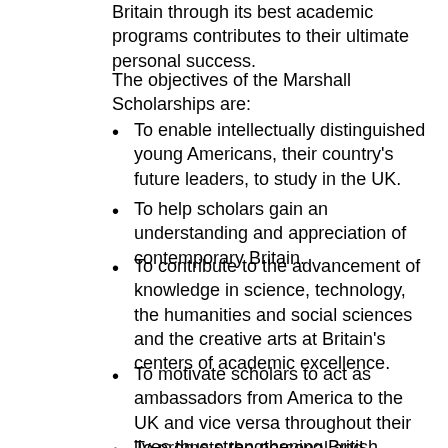Britain through its best academic programs contributes to their ultimate personal success.
The objectives of the Marshall Scholarships are:
To enable intellectually distinguished young Americans, their country's future leaders, to study in the UK.
To help scholars gain an understanding and appreciation of contemporary Britain.
To contribute to the advancement of knowledge in science, technology, the humanities and social sciences and the creative arts at Britain's centers of academic excellence.
To motivate scholars to act as ambassadors from America to the UK and vice versa throughout their lives thus strengthening British American understanding.
To promote the personal and academic